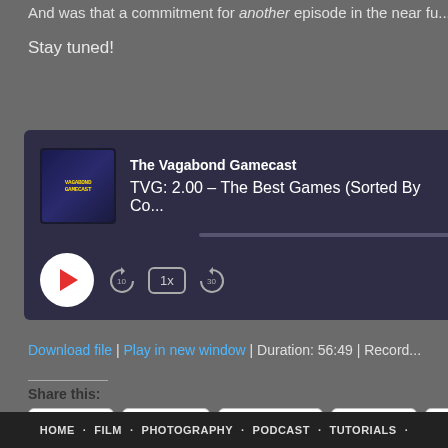And was that a commitment for another episode in the near fu...
Stay tuned!
[Figure (screenshot): Podcast player widget showing 'The Vagabond Gamecast' with episode 'TVG: 2.00 – The Best Games (Sorted By Co...' with play button, rewind 10, 1x speed, and forward 30 controls on a dark navy background.]
Download file | Play in new window | Duration: 56:49 | Record...
Share this:
Reddit
Tumblr
Facebook
Twitter
LinkedIn
HOME · FILM · PHOTOGRAPHY · PODCAST · TUTORIALS ·